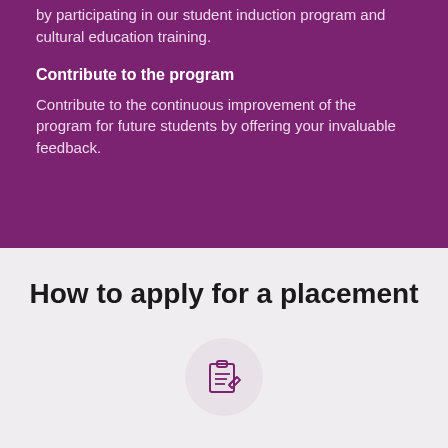by participating in our student induction program and cultural education training.
Contribute to the program
Contribute to the continuous improvement of the program for future students by offering your invaluable feedback.
How to apply for a placement
[Figure (illustration): Clipboard with pencil icon in a light grey circle]